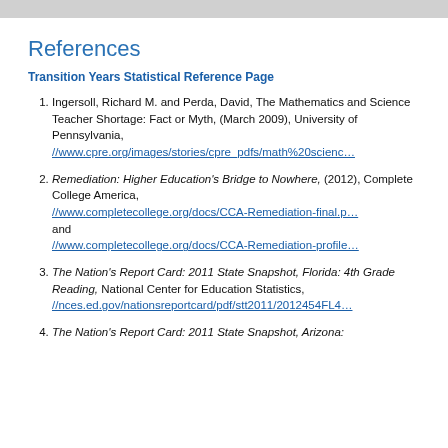References
Transition Years Statistical Reference Page
Ingersoll, Richard M. and Perda, David, The Mathematics and Science Teacher Shortage: Fact or Myth, (March 2009), University of Pennsylvania, //www.cpre.org/images/stories/cpre_pdfs/math%20scienc…
Remediation: Higher Education's Bridge to Nowhere, (2012), Complete College America, //www.completecollege.org/docs/CCA-Remediation-final.p… and //www.completecollege.org/docs/CCA-Remediation-profile…
The Nation's Report Card: 2011 State Snapshot, Florida: 4th Grade Reading, National Center for Education Statistics, //nces.ed.gov/nationsreportcard/pdf/stt2011/2012454FL4…
The Nation's Report Card: 2011 State Snapshot, Arizona: